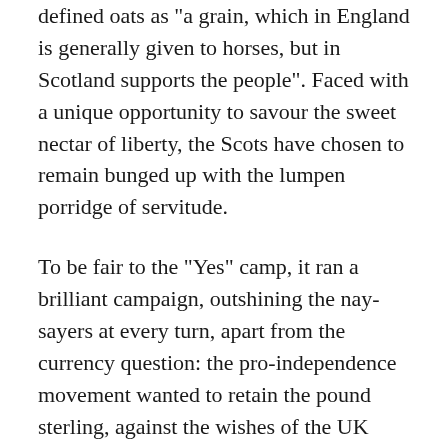defined oats as "a grain, which in England is generally given to horses, but in Scotland supports the people". Faced with a unique opportunity to savour the sweet nectar of liberty, the Scots have chosen to remain bunged up with the lumpen porridge of servitude.
To be fair to the “Yes” camp, it ran a brilliant campaign, outshining the nay-sayers at every turn, apart from the currency question: the pro-independence movement wanted to retain the pound sterling, against the wishes of the UK Government, whereas they ought to have proposed either the creation of an independent Scottish currency with a Scottish central bank to act as a lender of last resort – the truly independent option – or the adoption of the euro.
However, the result goes to show that however brilliant your campaign you cannot persuade reactionary cowards...